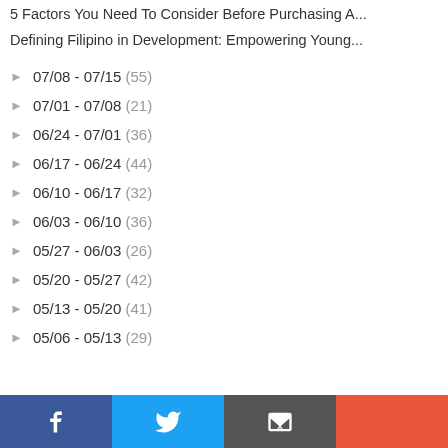5 Factors You Need To Consider Before Purchasing A...
Defining Filipino in Development: Empowering Young...
► 07/08 - 07/15 (55)
► 07/01 - 07/08 (21)
► 06/24 - 07/01 (36)
► 06/17 - 06/24 (44)
► 06/10 - 06/17 (32)
► 06/03 - 06/10 (36)
► 05/27 - 06/03 (26)
► 05/20 - 05/27 (42)
► 05/13 - 05/20 (41)
► 05/06 - 05/13 (29)